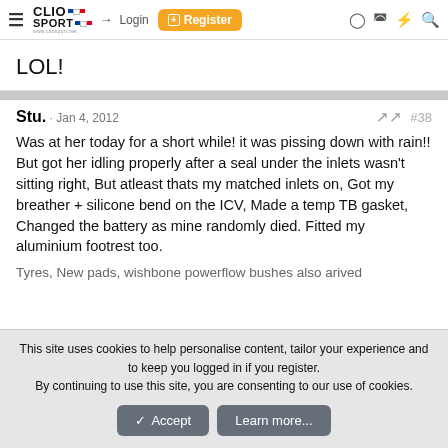ClioSport.net — Login | Register
LOL!
Stu. · Jan 4, 2012   #38
Was at her today for a short while! it was pissing down with rain!! But got her idling properly after a seal under the inlets wasn't sitting right, But atleast thats my matched inlets on, Got my breather + silicone bend on the ICV, Made a temp TB gasket, Changed the battery as mine randomly died. Fitted my aluminium footrest too.
Tyres, New pads, wishbone, powerflow bushes also arived
This site uses cookies to help personalise content, tailor your experience and to keep you logged in if you register.
By continuing to use this site, you are consenting to our use of cookies.
Accept | Learn more...